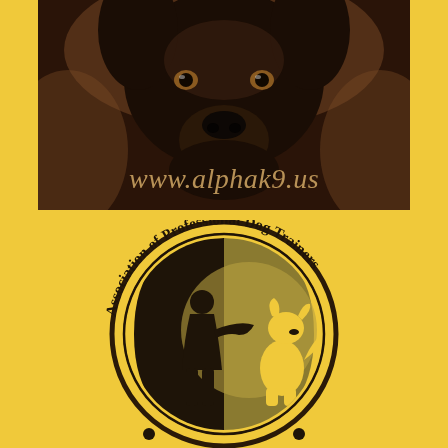[Figure (photo): Close-up photo of a black dog (appears to be a Doberman) looking at the camera with a warm brownish background, with the text 'www.alphak9.us' overlaid in golden italic font]
[Figure (logo): Association of Professional Dog Trainers circular logo on yellow background, featuring silhouettes of a person and a sitting dog inside a circle with text 'Association of Professional Dog Trainers' curved around the border]